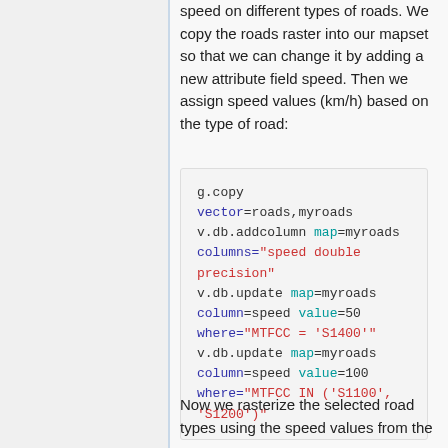speed on different types of roads. We copy the roads raster into our mapset so that we can change it by adding a new attribute field speed. Then we assign speed values (km/h) based on the type of road:
Now we rasterize the selected road types using the speed values from the